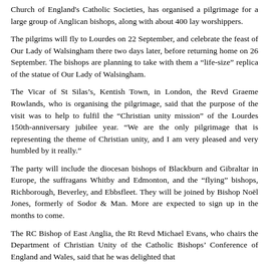Church of England's Catholic Societies, has organised a pilgrimage for a large group of Anglican bishops, along with about 400 lay worshippers.
The pilgrims will fly to Lourdes on 22 September, and celebrate the feast of Our Lady of Walsingham there two days later, before returning home on 26 September. The bishops are planning to take with them a “life-size” replica of the statue of Our Lady of Walsingham.
The Vicar of St Silas’s, Kentish Town, in London, the Revd Graeme Rowlands, who is organising the pilgrimage, said that the purpose of the visit was to help to fulfil the “Christian unity mission” of the Lourdes 150th-anniversary jubilee year. “We are the only pilgrimage that is representing the theme of Christian unity, and I am very pleased and very humbled by it really.”
The party will include the diocesan bishops of Blackburn and Gibraltar in Europe, the suffragans Whitby and Edmonton, and the “flying” bishops, Richborough, Beverley, and Ebbsfleet. They will be joined by Bishop Noël Jones, formerly of Sodor & Man. More are expected to sign up in the months to come.
The RC Bishop of East Anglia, the Rt Revd Michael Evans, who chairs the Department of Christian Unity of the Catholic Bishops’ Conference of England and Wales, said that he was delighted that